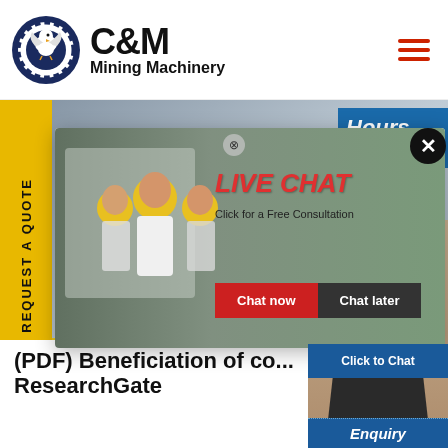[Figure (logo): C&M Mining Machinery logo with eagle/gear emblem in dark blue circle, bold C&M text and Mining Machinery subtitle]
[Figure (photo): Industrial machinery manufacturing floor with large white crushing/mining equipment, workers in yellow hard hats]
[Figure (screenshot): Live Chat popup overlay: workers photo, LIVE CHAT heading in red italic, Chat now (red) and Chat later (dark) buttons]
[Figure (photo): Customer service agent woman with headset on right panel with blue background]
(PDF) Beneficiation of co... ResearchGate